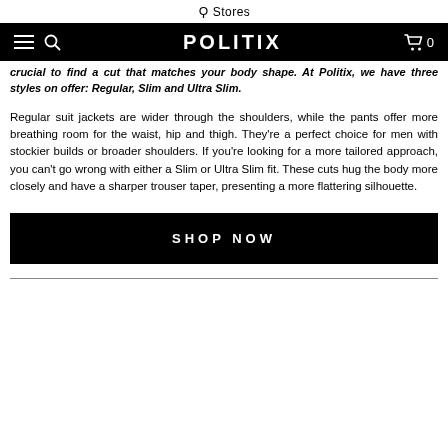Stores
[Figure (screenshot): Black navigation bar with hamburger menu, search icon, POLITIX logo, and cart icon with 0]
crucial to find a cut that matches your body shape. At Politix, we have three styles on offer: Regular, Slim and Ultra Slim.
Regular suit jackets are wider through the shoulders, while the pants offer more breathing room for the waist, hip and thigh. They're a perfect choice for men with stockier builds or broader shoulders. If you're looking for a more tailored approach, you can't go wrong with either a Slim or Ultra Slim fit. These cuts hug the body more closely and have a sharper trouser taper, presenting a more flattering silhouette.
SHOP NOW